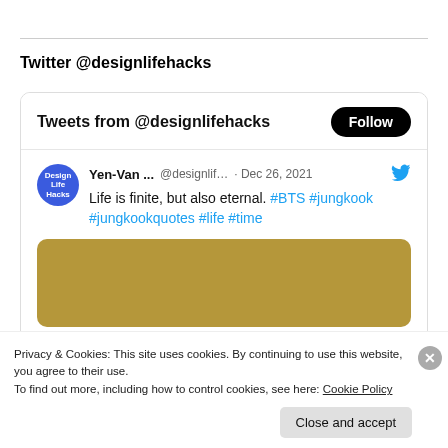Twitter @designlifehacks
[Figure (screenshot): Twitter widget card showing tweets from @designlifehacks with a Follow button. Contains a tweet by Yen-Van ... (@designlif...) dated Dec 26, 2021 saying 'Life is finite, but also eternal. #BTS #jungkook #jungkookquotes #life #time' with a golden-brown image placeholder below.]
Privacy & Cookies: This site uses cookies. By continuing to use this website, you agree to their use.
To find out more, including how to control cookies, see here: Cookie Policy
Close and accept